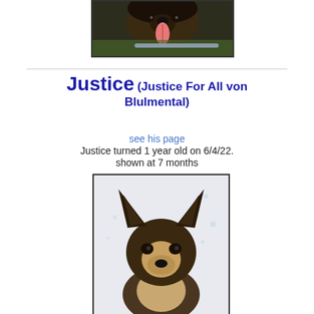[Figure (photo): Close-up photo of a German Shepherd dog with tongue out, black and brown fur, outdoors]
Justice (Justice For All von Blulmental)
see his page
Justice turned 1 year old on 6/4/22.
shown at 7 months
[Figure (photo): Front-facing photo of a young German Shepherd puppy with large ears, black and tan coloring]